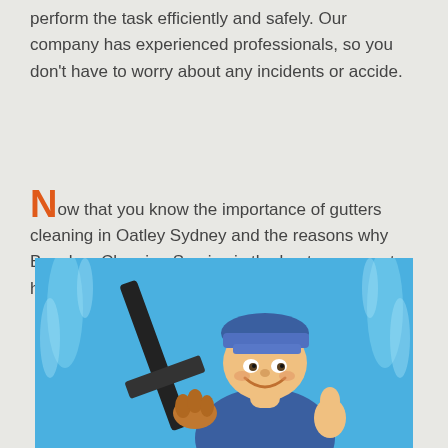perform the task efficiently and safely. Our company has experienced professionals, so you don't have to worry about any incidents or accide.
Now that you know the importance of gutters cleaning in Oatley Sydney and the reasons why Beaches Cleaning Service is the best company to hire, what's next? Call us for a free consultation.
[Figure (illustration): Cartoon illustration of a smiling cleaning professional in a blue cap holding a window squeegee, with a blue background and water splashes.]